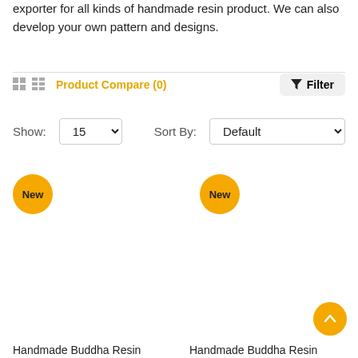exporter for all kinds of handmade resin product. We can also develop your own pattern and designs.
Product Compare (0)
Filter
Show: 15   Sort By: Default
New
New
Handmade Buddha Resin
Handmade Buddha Resin